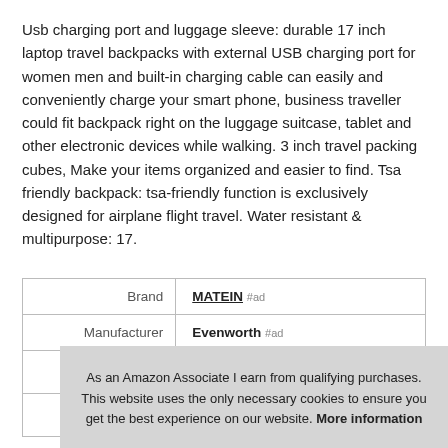Usb charging port and luggage sleeve: durable 17 inch laptop travel backpacks with external USB charging port for women men and built-in charging cable can easily and conveniently charge your smart phone, business traveller could fit backpack right on the luggage suitcase, tablet and other electronic devices while walking. 3 inch travel packing cubes, Make your items organized and easier to find. Tsa friendly backpack: tsa-friendly function is exclusively designed for airplane flight travel. Water resistant & multipurpose: 17.
|  |  |
| --- | --- |
| Brand | MATEIN #ad |
| Manufacturer | Evenworth #ad |
As an Amazon Associate I earn from qualifying purchases. This website uses the only necessary cookies to ensure you get the best experience on our website. More information